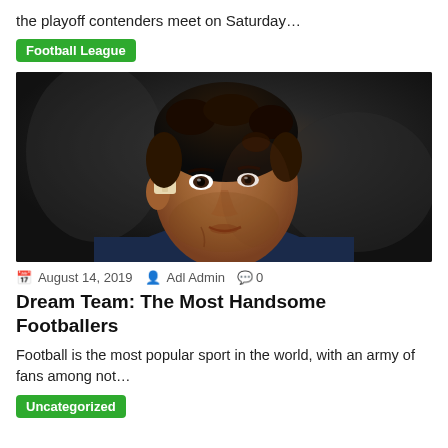the playoff contenders meet on Saturday…
Football League
[Figure (photo): Close-up portrait of a football player (Neymar) with curly hair, a bandage on his cheek/ear area, and a dark jersey, against a dark blurred background.]
August 14, 2019   Adl Admin   0
Dream Team: The Most Handsome Footballers
Football is the most popular sport in the world, with an army of fans among not…
Uncategorized